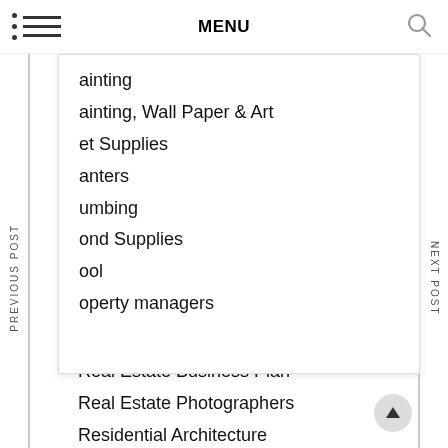MENU
On Budget
Open houses
Outdoor
ainting
ainting, Wall Paper & Art
et Supplies
anters
umbing
ond Supplies
ool
operty managers
Real Estate Agent
Real Estate App
Real Estate Business Plan
Real Estate Photographers
Residential Architecture
PREVIOUS POST
NEXT POST